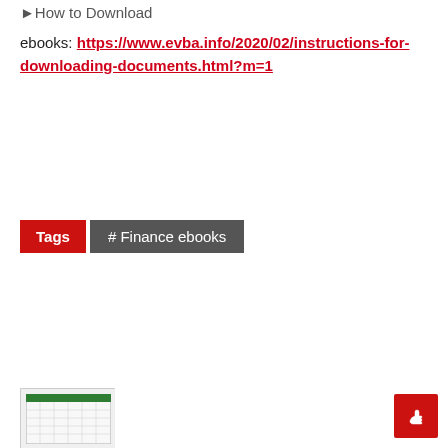▸How to Download
ebooks: https://www.evba.info/2020/02/instructions-for-downloading-documents.html?m=1
Tags  # Finance ebooks
[Figure (other): Small thumbnail image of a spreadsheet or table document at the bottom left]
[Figure (other): Red floating action button with a hand/pointer icon at the bottom right]